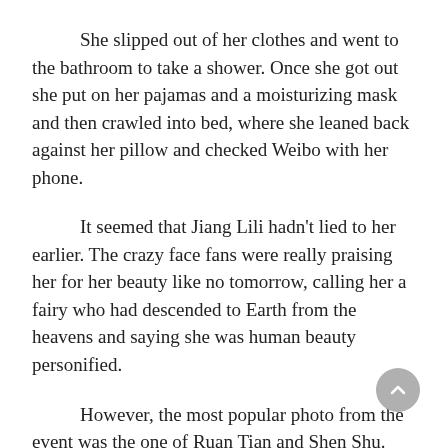She slipped out of her clothes and went to the bathroom to take a shower. Once she got out she put on her pajamas and a moisturizing mask and then crawled into bed, where she leaned back against her pillow and checked Weibo with her phone.
It seemed that Jiang Lili hadn’t lied to her earlier. The crazy face fans were really praising her for her beauty like no tomorrow, calling her a fairy who had descended to Earth from the heavens and saying she was human beauty personified.
However, the most popular photo from the event was the one of Ruan Tian and Shen Shu.
The organizer’s plan was simply genius. The former couple who had already torn each other’s faces and